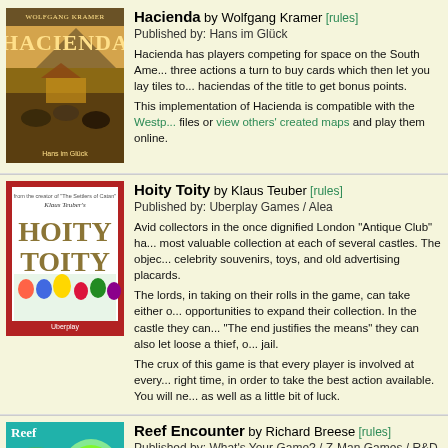[Figure (illustration): Hacienda board game cover art with cattle and landscape scene]
Hacienda by Wolfgang Kramer [rules]
Published by: Hans im Glück

Hacienda has players competing for space on the South American pampas using three actions a turn to buy cards which then let you lay tiles to build up land and haciendas of the title to get bonus points.

This implementation of Hacienda is compatible with the Westpark Gamers map files or view others' created maps and play them online.
[Figure (illustration): Hoity Toity board game cover art with colorful cartoon characters]
Hoity Toity by Klaus Teuber [rules]
Published by: Uberplay Games / Alea

Avid collectors in the once dignified London "Antique Club" have gathered the most valuable collection at each of several castles. The objects of desire are celebrity souvenirs, toys, and old advertising placards.

The lords, in taking on their rolls in the game, can take either of two opportunities to expand their collection. In the castle they can... "The end justifies the means" they can also let loose a thief, or put one in jail.

The crux of this game is that every player is involved at every turn, at the right time, in order to take the best action available. You will need good timing as well as a little bit of luck.
[Figure (illustration): Reef Encounter board game cover art with green and blue coral reef imagery]
Reef Encounter by Richard Breese [rules]
Published by: What's Your Game? / Z-Man Games / R&D Gam...

In Reef Encounter the aim is to grow the largest and strongest...